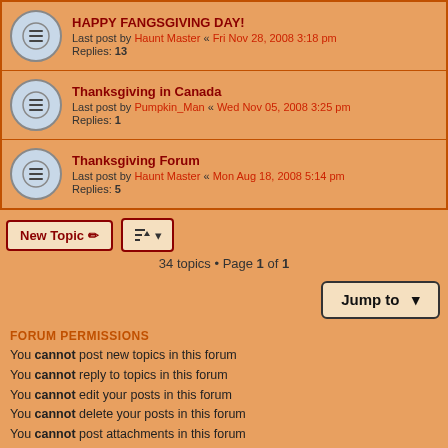HAPPY FANGSGIVING DAY! - Last post by Haunt Master « Fri Nov 28, 2008 3:18 pm - Replies: 13
Thanksgiving in Canada - Last post by Pumpkin_Man « Wed Nov 05, 2008 3:25 pm - Replies: 1
Thanksgiving Forum - Last post by Haunt Master « Mon Aug 18, 2008 5:14 pm - Replies: 5
34 topics • Page 1 of 1
FORUM PERMISSIONS
You cannot post new topics in this forum
You cannot reply to topics in this forum
You cannot edit your posts in this forum
You cannot delete your posts in this forum
You cannot post attachments in this forum
Home · Board index   All times are UTC-04:00   Powered by phpBB® Forum Software © phpBB Limited phpBB Halloween Style by Solidjeuh